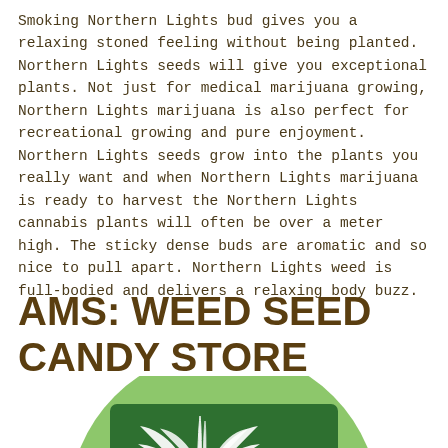Smoking Northern Lights bud gives you a relaxing stoned feeling without being planted. Northern Lights seeds will give you exceptional plants. Not just for medical marijuana growing, Northern Lights marijuana is also perfect for recreational growing and pure enjoyment. Northern Lights seeds grow into the plants you really want and when Northern Lights marijuana is ready to harvest the Northern Lights cannabis plants will often be over a meter high. The sticky dense buds are aromatic and so nice to pull apart. Northern Lights weed is full-bodied and delivers a relaxing body buzz.
AMS: WEED SEED CANDY STORE
[Figure (illustration): A large light green circle background with a dark green rectangular tablet/screen showing white leaf/cannabis plant illustrations inside it, partially cut off at the bottom of the page.]